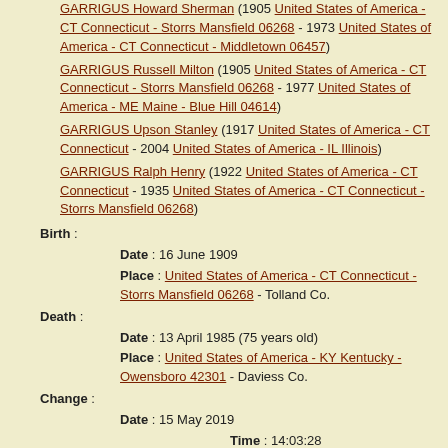GARRIGUS Howard Sherman (1905 United States of America - CT Connecticut - Storrs Mansfield 06268 - 1973 United States of America - CT Connecticut - Middletown 06457)
GARRIGUS Russell Milton (1905 United States of America - CT Connecticut - Storrs Mansfield 06268 - 1977 United States of America - ME Maine - Blue Hill 04614)
GARRIGUS Upson Stanley (1917 United States of America - CT Connecticut - 2004 United States of America - IL Illinois)
GARRIGUS Ralph Henry (1922 United States of America - CT Connecticut - 1935 United States of America - CT Connecticut - Storrs Mansfield 06268)
Birth : Date : 16 June 1909 Place : United States of America - CT Connecticut - Storrs Mansfield 06268 - Tolland Co.
Death : Date : 13 April 1985 (75 years old) Place : United States of America - KY Kentucky - Owensboro 42301 - Daviess Co.
Change : Date : 15 May 2019 Time : 14:03:28
Note :